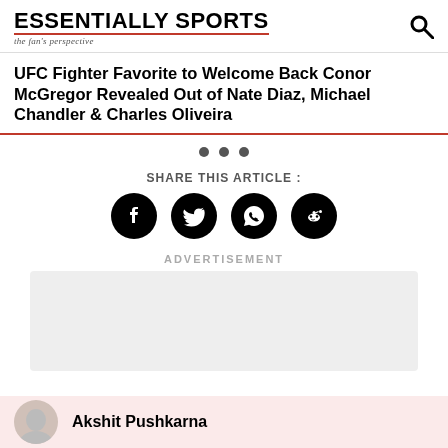ESSENTIALLY SPORTS — the fan's perspective
UFC Fighter Favorite to Welcome Back Conor McGregor Revealed Out of Nate Diaz, Michael Chandler & Charles Oliveira
[Figure (infographic): Three navigation dots (pagination indicators)]
SHARE THIS ARTICLE :
[Figure (infographic): Social share icons: Facebook, Twitter, WhatsApp, Reddit — all black circles]
ADVERTISEMENT
[Figure (photo): Advertisement placeholder area (light gray rectangle)]
Akshit Pushkarna